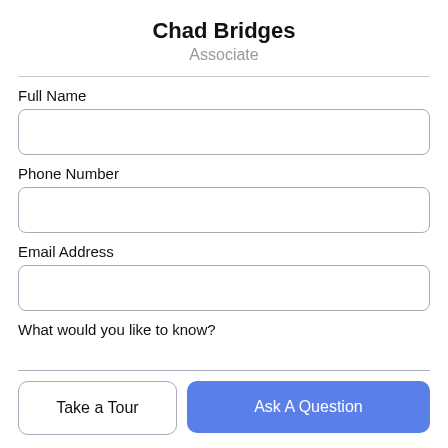Chad Bridges
Associate
Full Name
Phone Number
Email Address
What would you like to know?
Take a Tour
Ask A Question